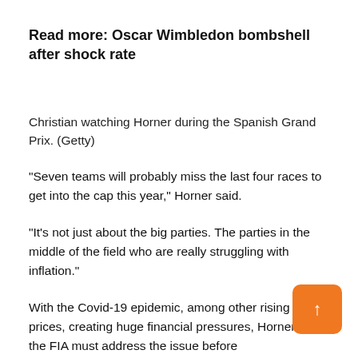Read more: Oscar Wimbledon bombshell after shock rate
Christian watching Horner during the Spanish Grand Prix. (Getty)
“Seven teams will probably miss the last four races to get into the cap this year,” Horner said.
“It’s not just about the big parties. The parties in the middle of the field who are really struggling with inflation.”
With the Covid-19 epidemic, among other rising utility prices, creating huge financial pressures, Horner said the FIA must address the issue before